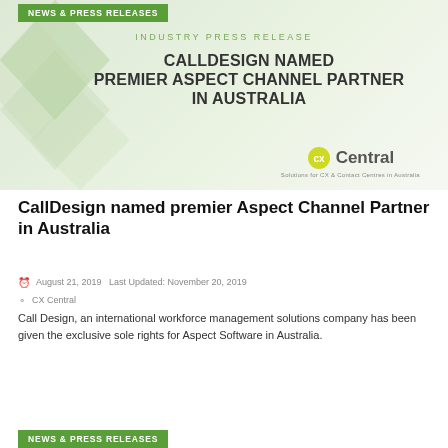NEWS & PRESS RELEASES
[Figure (illustration): Hero banner for industry press release: 'CALLDESIGN NAMED PREMIER ASPECT CHANNEL PARTNER IN AUSTRALIA' with CX Central logo and decorative geometric shapes on green gradient background.]
CallDesign named premier Aspect Channel Partner in Australia
August 21, 2019   Last Updated: November 20, 2019
CX Central
Call Design, an international workforce management solutions company has been given the exclusive sole rights for Aspect Software in Australia.
NEWS & PRESS RELEASES